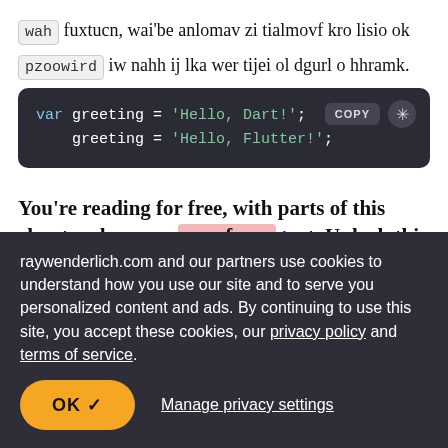wah fuxtucn, wai'be anlomav zi tialmovf kro lisio ok
pzoowird iw nahh ij lka wer tijei ol dgurl o hhramk.
[Figure (screenshot): Dark code block showing Dart/Flutter variable assignment: var greeting = 'Hello, Dart!'; greeting = 'Hello, Flutter!'; with COPY button and light-mode toggle]
You're reading for free, with parts of this chapter shown as vcpufprec text. Unlock this book, and our entire
raywenderlich.com and our partners use cookies to understand how you use our site and to serve you personalized content and ads. By continuing to use this site, you accept these cookies, our privacy policy and terms of service.
OK ✓   Manage privacy settings